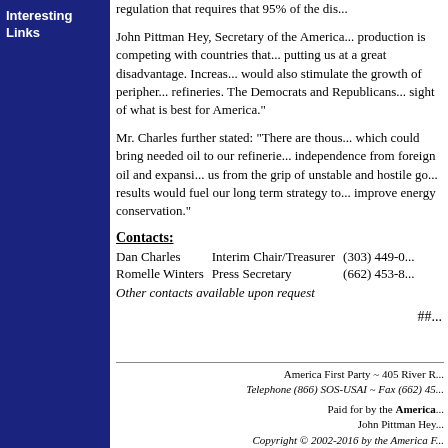Interesting Links
regulation that requires that 95% of the dis...
John Pittman Hey, Secretary of the America... production is competing with countries that... putting us at a great disadvantage. Increas... would also stimulate the growth of peripher... refineries. The Democrats and Republicans... sight of what is best for America."
Mr. Charles further stated: "There are thous... which could bring needed oil to our referie... independence from foreign oil and expansi... us from the grip of unstable and hostile go... results would fuel our long term strategy to... improve energy conservation."
Contacts:
| Name | Title | Phone |
| --- | --- | --- |
| Dan Charles | Interim Chair/Treasurer | (303) 449-0... |
| Romelle Winters | Press Secretary | (662) 453-8... |
Other contacts available upon request
###
America First Party ~ 405 River R...
Telephone (866) SOS-USAI ~ Fax (662) 45...
Paid for by the America...
John Pittman Hey...
Copyright © 2002-2016 by the America F...